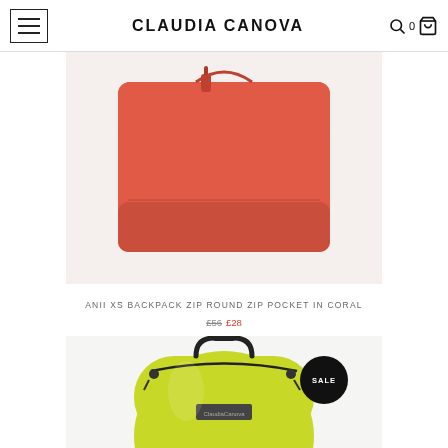CLAUDIA CANOVA
[Figure (photo): Coral colored flat bag/backpack (Anii XS Backpack) on white background, cropped view]
ANII XS BACKPACK ZIP ROUND ZIP POCKET IN CORAL
£56 £28
[Figure (photo): Yellow/lime colored small backpack with top handle and SALE badge on white background, partially shown]